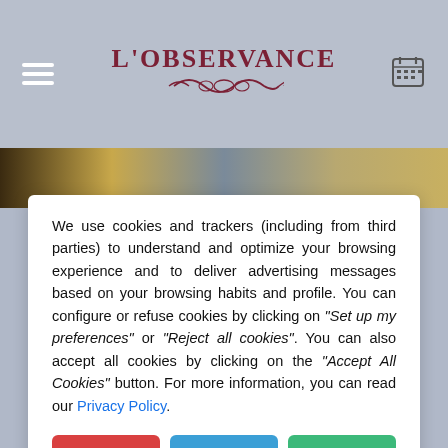L'OBSERVANCE
[Figure (screenshot): Background photo of hotel interior with warm golden and blue-grey tones]
We use cookies and trackers (including from third parties) to understand and optimize your browsing experience and to deliver advertising messages based on your browsing habits and profile. You can configure or refuse cookies by clicking on "Set up my preferences" or "Reject all cookies". You can also accept all cookies by clicking on the "Accept All Cookies" button. For more information, you can read our Privacy Policy.
Reject all cookies
Set up my preferences
Accept all cookies